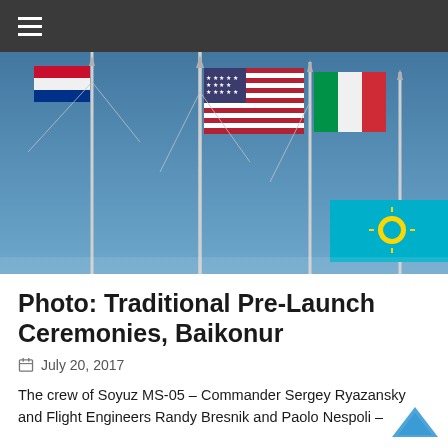≡
[Figure (photo): Flags of Russia, United States, Italy, and Kazakhstan flying on tall flagpoles against a clear blue sky, photographed from below at the Baikonur Cosmodrome.]
Photo: Traditional Pre-Launch Ceremonies, Baikonur
July 20, 2017
The crew of Soyuz MS-05 – Commander Sergey Ryazansky and Flight Engineers Randy Bresnik and Paolo Nespoli –